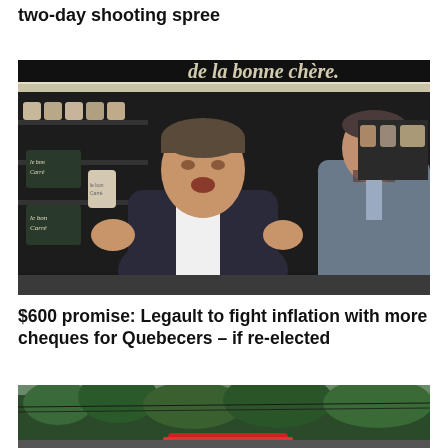two-day shooting spree
[Figure (photo): Man in dark suit gesturing with hands open in a specialty food/grocery store interior. A second man in a grey suit with striped tie stands behind him. Background shows shelves with jars and products. Store signage includes 'de la bonne chère' in cursive script on dark wall.]
$600 promise: Legault to fight inflation with more cheques for Quebecers – if re-elected
[Figure (photo): Outdoor scene showing trees and what appears to be a red vehicle or structure partially visible at bottom, with power lines visible.]